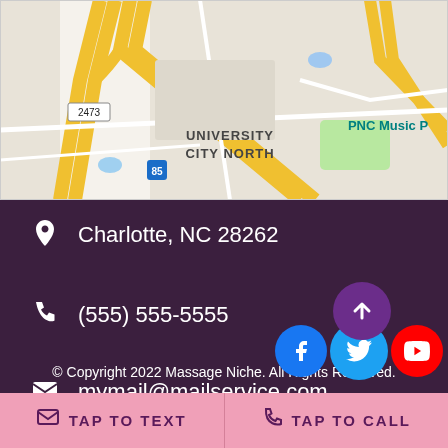[Figure (map): Google Maps view showing University City North area in Charlotte, NC with highway 85 and PNC Music Pavilion visible]
Charlotte, NC 28262
(555) 555-5555
mymail@mailservice.com
© Copyright 2022 Massage Niche. All Rights Reserved.
TAP TO TEXT | TAP TO CALL